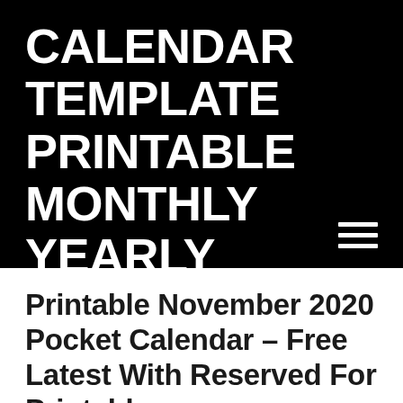CALENDAR TEMPLATE PRINTABLE MONTHLY YEARLY
[Figure (other): Hamburger menu icon (three horizontal white lines) in the lower right of the black header area]
Printable November 2020 Pocket Calendar – Free Latest With Reserved For Printable